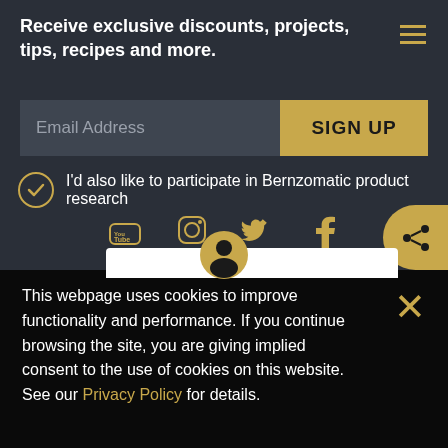Receive exclusive discounts, projects, tips, recipes and more.
Email Address
SIGN UP
I'd also like to participate in Bernzomatic product research
[Figure (other): Social media icons: YouTube, Instagram, Twitter, Facebook, and a share button]
This webpage uses cookies to improve functionality and performance. If you continue browsing the site, you are giving implied consent to the use of cookies on this website. See our Privacy Policy for details.